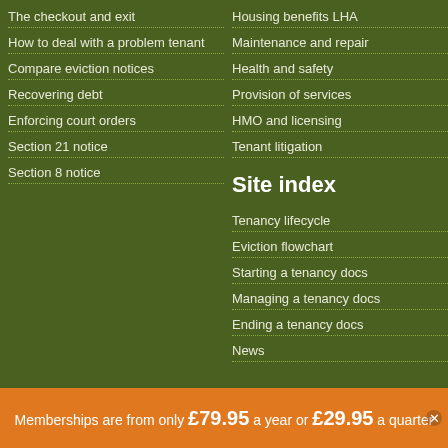The checkout and exit
How to deal with a problem tenant
Compare eviction notices
Recovering debt
Enforcing court orders
Section 21 notice
Section 8 notice
Housing benefits LHA
Maintenance and repair
Health and safety
Provision of services
HMO and licensing
Tenant litigation
Site index
Tenancy lifecycle
Eviction flowchart
Starting a tenancy docs
Managing a tenancy docs
Ending a tenancy docs
News
Memberships are from only £79.95 a year or £29.95 a quarter